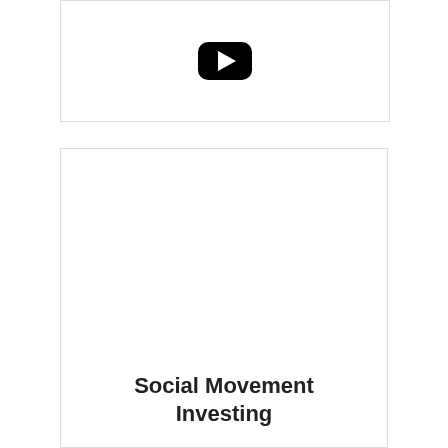[Figure (other): YouTube video embed placeholder showing a YouTube play button (black rounded rectangle with white triangle) centered in a bordered card]
[Figure (other): Bordered card with large centered text at the bottom reading 'Social Movement Investing']
Social Movement Investing